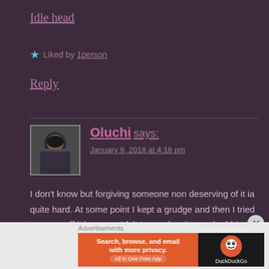Idle head
★ Liked by 1person
Reply
[Figure (photo): Small avatar photo of commenter Oluchi showing a person with dark hair]
Oluchi says:
January 9, 2018 at 4:18 pm
I don't know but forgiving someone non deserving of it ia quite hard. At some point I kept a grudge and then I tried to come off it because I felt I was cheating and robbing myself off happiness. But
Advertisements
[Figure (screenshot): DuckDuckGo advertisement banner: Search, browse, and email with more privacy. All in One Free App]